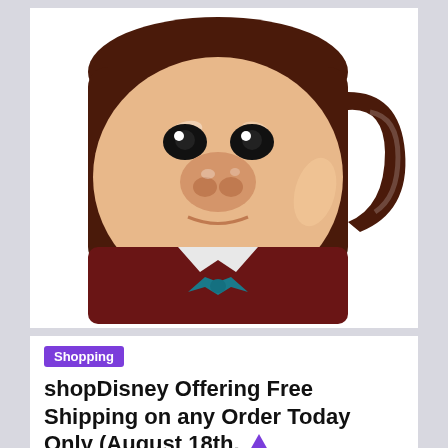[Figure (photo): A ceramic character mug shaped like a cartoon face (Big Bad Wolf / Mr. Toad style) with a large peach-colored face, small dark eyes, big nose, slight smile, dark brown top and handle, red/dark jacket body, white collar, and teal bow tie. The mug handle is on the right side.]
Shopping
shopDisney Offering Free Shipping on any Order Today Only (August 18th,